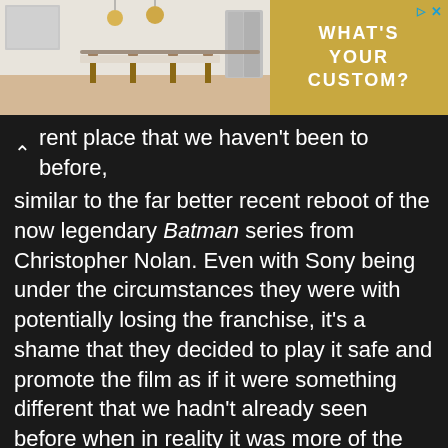[Figure (photo): Top advertisement banner showing a kitchen interior photo on the left and a gold/tan panel with text 'WHAT'S YOUR CUSTOM?' on the right, with small navigation icons in top-right corner.]
…rent place that we haven't been to before, similar to the far better recent reboot of the now legendary Batman series from Christopher Nolan. Even with Sony being under the circumstances they were with potentially losing the franchise, it's a shame that they decided to play it safe and promote the film as if it were something different that we hadn't already seen before when in reality it was more of the same that sets up what could be the true untold story in the next film.

That being said, as long as Andrew Garfield does… lawye…
[Figure (screenshot): Bottom advertisement banner for 'Medical Solutions' app with logo M in dark blue box, text 'Effortless Application' and an 'Open' button on dark blue background.]